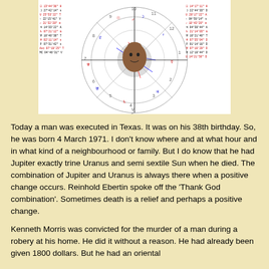[Figure (other): Astrological birth chart wheel with a man's portrait photo in the center. The chart has lines, symbols, degrees, and planetary data listed on left and right sides.]
Today a man was executed in Texas. It was on his 38th birthday. So, he was born 4 March 1971. I don't know where and at what hour and in what kind of a neighbourhood or family. But I do know that he had Jupiter exactly trine Uranus and semi sextile Sun when he died. The combination of Jupiter and Uranus is always there when a positive change occurs. Reinhold Ebertin spoke off the 'Thank God combination'. Sometimes death is a relief and perhaps a positive change.
Kenneth Morris was convicted for the murder of a man during a robery at his home. He did it without a reason. He had already been given 1800 dollars. But he had an oriental